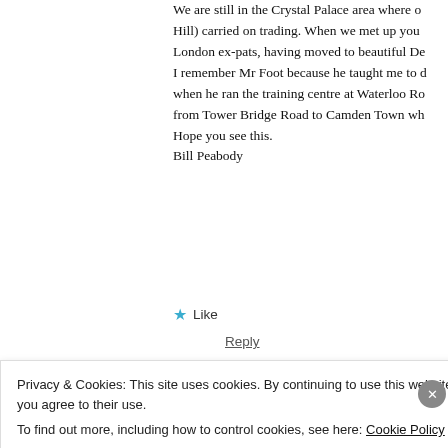We are still in the Crystal Palace area where o... Hill) carried on trading. When we met up you... London ex-pats, having moved to beautiful De... I remember Mr Foot because he taught me to d... when he ran the training centre at Waterloo Ro... from Tower Bridge Road to Camden Town wh... Hope you see this.
Bill Peabody
★ Like
Reply
Peter Matthews says:
Privacy & Cookies: This site uses cookies. By continuing to use this website, you agree to their use.
To find out more, including how to control cookies, see here: Cookie Policy
Close and accept